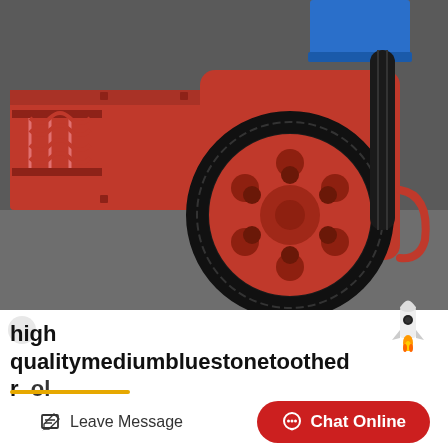[Figure (photo): A red industrial jaw crusher machine with a large black V-belt pulley/flywheel, spring mechanism, and blue-edged feed hopper visible at the top. Photographed on a grey pavement surface.]
high qualitymediumbluestonetoothed r ol crusherin
Leave Message
Chat Online